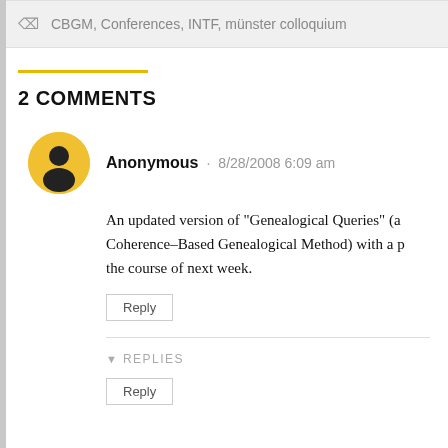CBGM, Conferences, INTF, münster colloquium
2 COMMENTS
Anonymous · 8/28/2008 6:09 am
An updated version of "Genealogical Queries" (a... Coherence-Based Genealogical Method) with a p... the course of next week.
Reply
▾ REPLIES
Reply